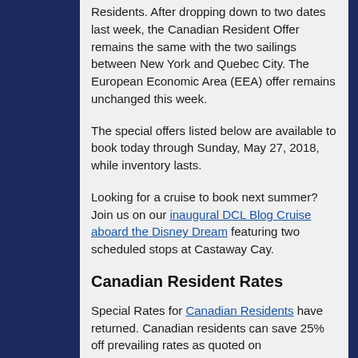Residents. After dropping down to two dates last week, the Canadian Resident Offer remains the same with the two sailings between New York and Quebec City. The European Economic Area (EEA) offer remains unchanged this week.
The special offers listed below are available to book today through Sunday, May 27, 2018, while inventory lasts.
Looking for a cruise to book next summer? Join us on our inaugural DCL Blog Cruise aboard the Disney Dream featuring two scheduled stops at Castaway Cay.
Canadian Resident Rates
Special Rates for Canadian Residents have returned. Canadian residents can save 25% off prevailing rates as quoted on Disneycruise.com for non-concierge Verandah, Oceanview, and Inside